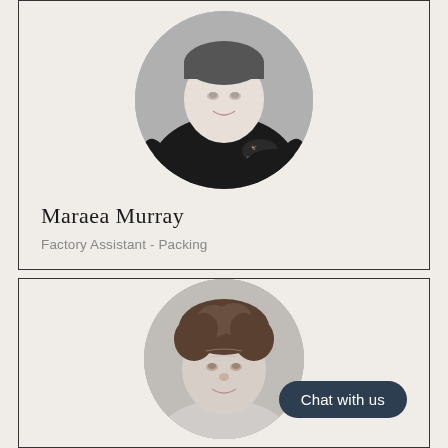[Figure (photo): Black and white circular cropped headshot photo of Maraea Murray wearing a dark polo shirt with a logo]
Maraea Murray
Factory Assistant - Packing
[Figure (photo): Black and white circular cropped photo of a person with curly hair, cropped near the top of the card. A dark rounded 'Chat with us' button overlays the bottom right.]
Chat with us